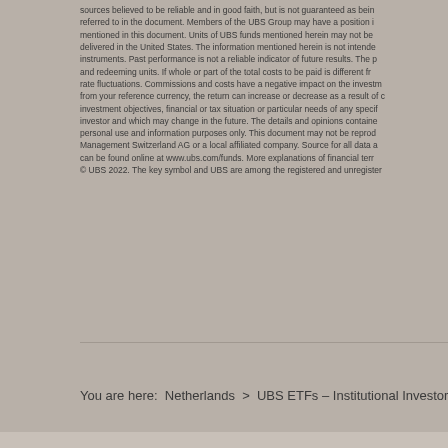sources believed to be reliable and in good faith, but is not guaranteed as being referred to in the document. Members of the UBS Group may have a position in mentioned in this document. Units of UBS funds mentioned herein may not be delivered in the United States. The information mentioned herein is not intended instruments. Past performance is not a reliable indicator of future results. The p and redeeming units. If whole or part of the total costs to be paid is different fr rate fluctuations. Commissions and costs have a negative impact on the investm from your reference currency, the return can increase or decrease as a result of c investment objectives, financial or tax situation or particular needs of any specif investor and which may change in the future. The details and opinions contained personal use and information purposes only. This document may not be reprod Management Switzerland AG or a local affiliated company. Source for all data a can be found online at www.ubs.com/funds. More explanations of financial ter © UBS 2022. The key symbol and UBS are among the registered and unregister
You are here:  Netherlands  >  UBS ETFs – Institutional Investors  >